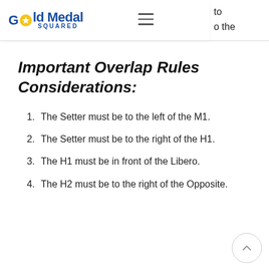Gold Medal Squared — navigation header
Important Overlap Rules Considerations:
The Setter must be to the left of the M1.
The Setter must be to the right of the H1.
The H1 must be in front of the Libero.
The H2 must be to the right of the Opposite.